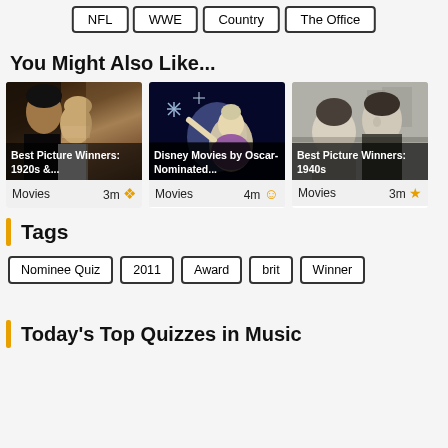NFL
WWE
Country
The Office
You Might Also Like...
[Figure (photo): Classic movie still of a man and woman in formal attire, black and white tones with warm overlay]
Best Picture Winners: 1920s &...
Movies   3m
[Figure (photo): Animated character Elsa from Frozen reaching out with snowflakes, dark blue background]
Disney Movies by Oscar-Nominated...
Movies   4m
[Figure (photo): Black and white photo of a man and woman, classic 1940s style]
Best Picture Winners: 1940s
Movies   3m
Tags
Nominee Quiz
2011
Award
brit
Winner
Today's Top Quizzes in Music